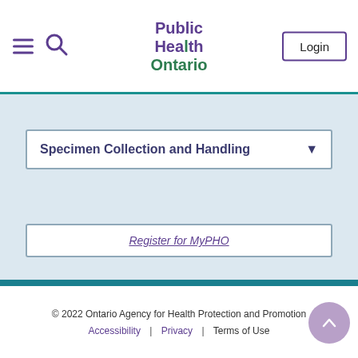Public Health Ontario — Login
Specimen Collection and Handling
Register for MyPHO
[Figure (logo): Ontario government logo with trillium symbol in white circle on teal background]
© 2022 Ontario Agency for Health Protection and Promotion | Accessibility | Privacy | Terms of Use